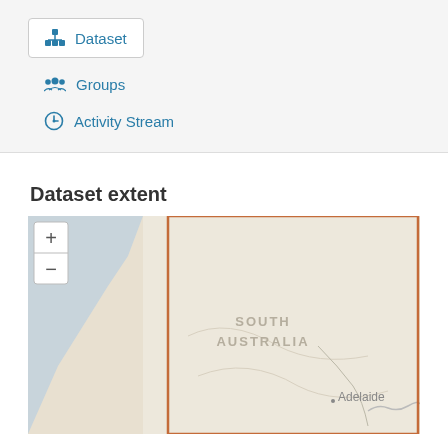Dataset
Groups
Activity Stream
Dataset extent
[Figure (map): Map showing the dataset extent over South Australia, with an orange rectangle bounding box highlighting the region including Adelaide. The map has zoom in (+) and zoom out (-) controls in the top left.]